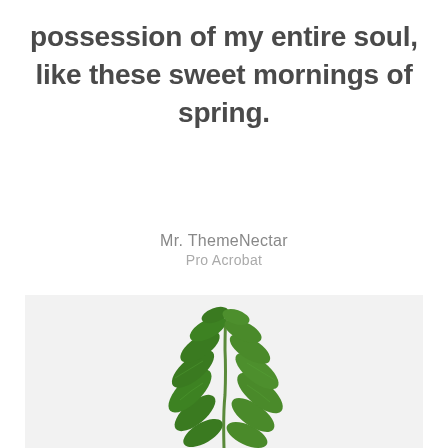possession of my entire soul, like these sweet mornings of spring.
Mr. ThemeNectar
Pro Acrobat
[Figure (photo): A green plant stem with oval leaves against a light gray/white background, photographed from below looking up, showing multiple pairs of glossy green leaves along a central stem.]